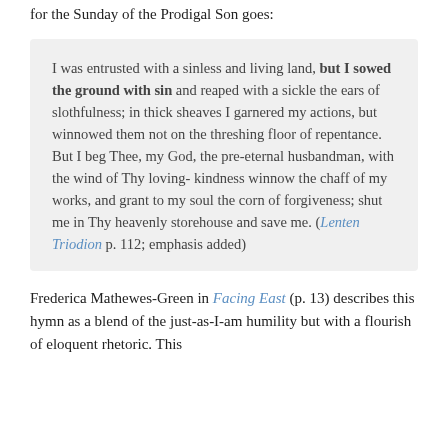for the Sunday of the Prodigal Son goes:
I was entrusted with a sinless and living land, but I sowed the ground with sin and reaped with a sickle the ears of slothfulness; in thick sheaves I garnered my actions, but winnowed them not on the threshing floor of repentance. But I beg Thee, my God, the pre-eternal husbandman, with the wind of Thy loving-kindness winnow the chaff of my works, and grant to my soul the corn of forgiveness; shut me in Thy heavenly storehouse and save me. (Lenten Triodion p. 112; emphasis added)
Frederica Mathewes-Green in Facing East (p. 13) describes this hymn as a blend of the just-as-I-am humility but with a flourish of eloquent rhetoric. This